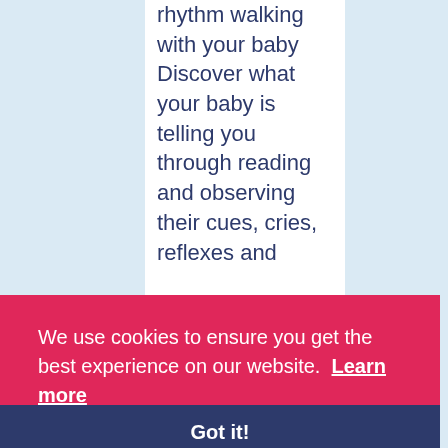rhythm walking with your baby Discover what your baby is telling you through reading and observing their cues, cries, reflexes and
We use cookies to ensure you get the best experience on our website.  Learn more
Got it!